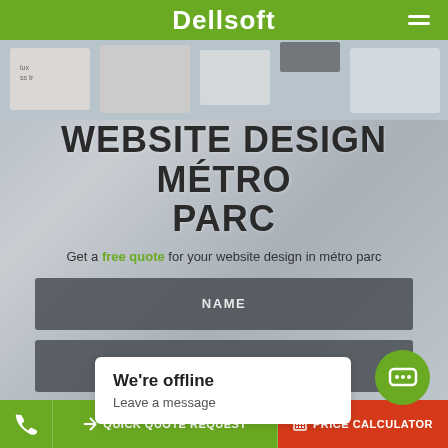Dellsoft
[Figure (screenshot): Background collage of website/device mockup images]
WEBSITE DESIGN MÉTRO PARC
Get a free quote for your website design in métro parc
NAME
EMAIL
We're offline
Leave a message
QUICK QUOTE REQUEST   PRICE CALCULATOR